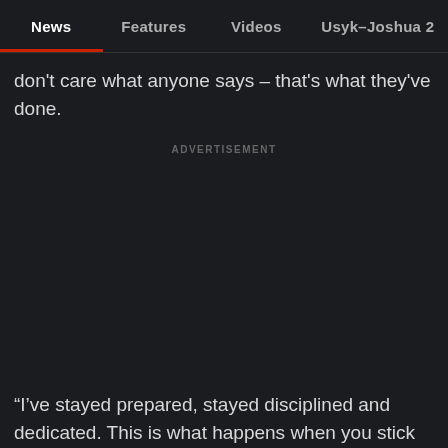News | Features | Videos | Usyk–Joshua 2
don't care what anyone says – that's what they've done.
ADVERTISEMENT
“I've stayed prepared, stayed disciplined and dedicated. This is what happens when you stick to it. I was in this